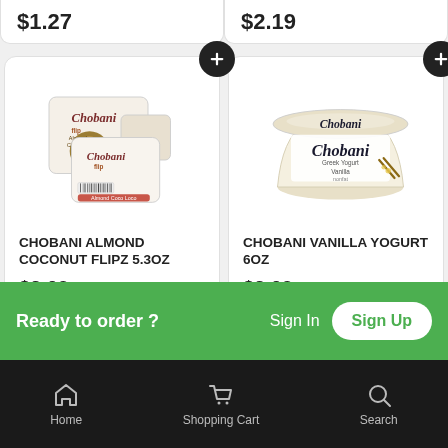$1.27
$2.19
[Figure (photo): Chobani Flip Almond Coconut yogurt product - two containers shown]
CHOBANI ALMOND COCONUT FLIPZ 5.3OZ
$2.09
[Figure (photo): Chobani Vanilla Greek Yogurt 6oz container]
CHOBANI VANILLA YOGURT 6OZ
$2.09
Ready to order ? Sign In Sign Up
Home  Shopping Cart  Search